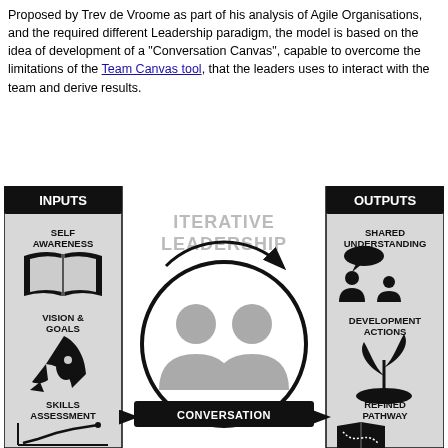Proposed by Trev de Vroome as part of his analysis of Agile Organisations, and the required different Leadership paradigm, the model is based on the idea of development of a "Conversation Canvas", capable to overcome the limitations of the Team Canvas tool, that the leaders uses to interact with the team and derive results.
[Figure (infographic): Iterative Leadership diagram showing INPUTS (Self Awareness, Vision & Goals, Skills Assessment) on the left column, OUTPUTS (Shared Understanding, Development Actions, Refined Pathway) on the right column, and ITERATIVE LEADERSHIP with a circle containing two person silhouettes in the center, connected by a CONVERSATION arrow.]